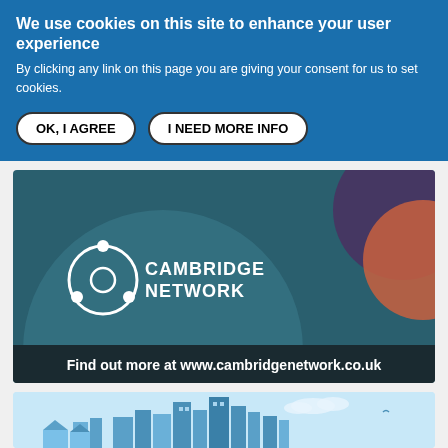We use cookies on this site to enhance your user experience
By clicking any link on this page you are giving your consent for us to set cookies.
OK, I AGREE
I NEED MORE INFO
[Figure (logo): Cambridge Network banner with logo, decorative circles in teal and orange/purple, and text 'Find out more at www.cambridgenetwork.co.uk']
[Figure (illustration): Light blue city skyline illustration with buildings, clouds, and a bird]